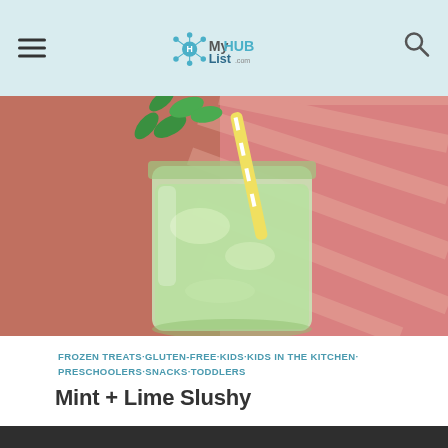MyHUBList.com
[Figure (photo): A mason jar filled with a green mint-lime slushy drink, garnished with fresh mint leaves and a yellow and white striped straw, placed against a pink striped background.]
FROZEN TREATS·GLUTEN-FREE·KIDS·KIDS IN THE KITCHEN·PRESCHOOLERS·SNACKS·TODDLERS
Mint + Lime Slushy